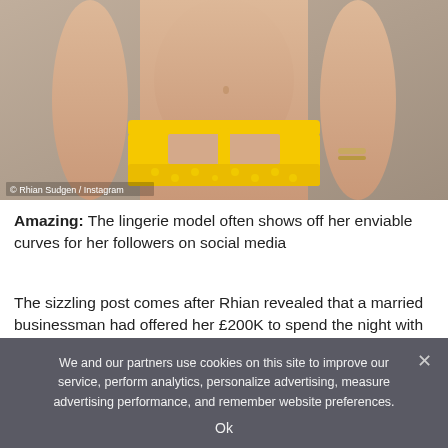[Figure (photo): Photo of a woman's torso wearing yellow lingerie/underwear against a neutral background. Watermark reads '© Rhian Sudgen / Instagram']
Amazing: The lingerie model often shows off her enviable curves for her followers on social media
The sizzling post comes after Rhian revealed that a married businessman had offered her £200K to spend the night with
We and our partners use cookies on this site to improve our service, perform analytics, personalize advertising, measure advertising performance, and remember website preferences.
Ok